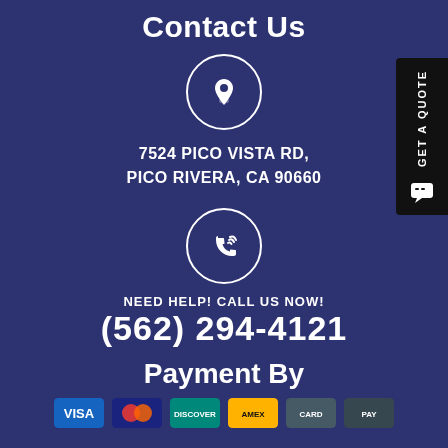Contact Us
[Figure (illustration): Location pin icon inside a circle]
7524 PICO VISTA RD, PICO RIVERA, CA 90660
[Figure (illustration): Phone/call icon inside a circle]
NEED HELP! CALL US NOW!
(562) 294-4121
Payment By
[Figure (illustration): Payment method icons (credit cards) shown at bottom]
[Figure (illustration): GET A QUOTE side tab button]